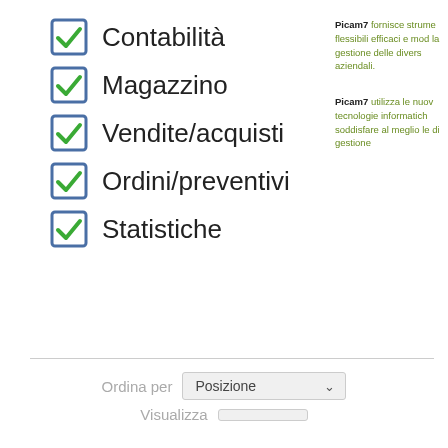Contabilità
Magazzino
Vendite/acquisti
Ordini/preventivi
Statistiche
Picam7 fornisce strume flessibili efficaci e mod la gestione delle divers aziendali.
Picam7 utilizza le nuov tecnologie informatich soddisfare al meglio le di gestione
Ordina per  Posizione
Visualiza